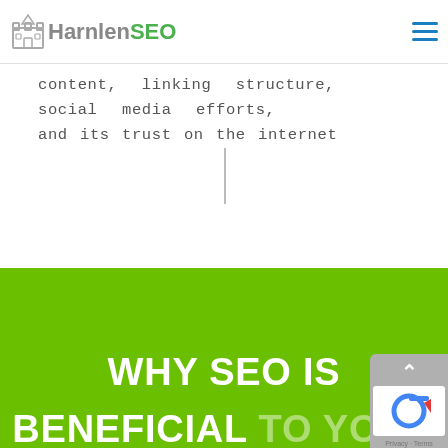HarnlenSEO
content, linking structure, social media efforts, and its trust on the internet
WHY SEO IS BENEFICIAL TO YOUR